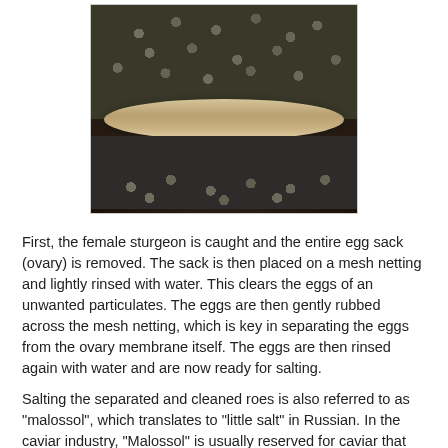[Figure (photo): Close-up photograph of caviar eggs piled on top of a shell (likely an oyster or clam shell). Dark gray-black roe eggs are heaped above and below a pale cream/brown shell. The eggs are glistening and clustered densely.]
First, the female sturgeon is caught and the entire egg sack (ovary) is removed. The sack is then placed on a mesh netting and lightly rinsed with water. This clears the eggs of an unwanted particulates. The eggs are then gently rubbed across the mesh netting, which is key in separating the eggs from the ovary membrane itself. The eggs are then rinsed again with water and are now ready for salting.
Salting the separated and cleaned roes is also referred to as "malossol", which translates to "little salt" in Russian. In the caviar industry, "Malossol" is usually reserved for caviar that contains 3% to 5% salt content. Generally, higher quality